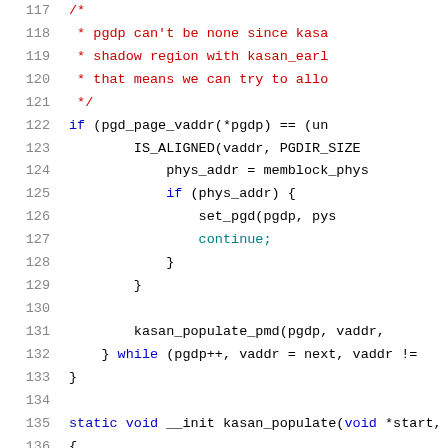[Figure (screenshot): Source code listing showing C code lines 117–137 with syntax highlighting. Line numbers in gray on the left, comment text in red, keywords in blue, and general code in black/teal monospace font.]